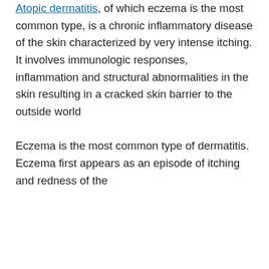Atopic dermatitis, of which eczema is the most common type, is a chronic inflammatory disease of the skin characterized by very intense itching. It involves immunologic responses, inflammation and structural abnormalities in the skin resulting in a cracked skin barrier to the outside world
Eczema is the most common type of dermatitis. Eczema first appears as an episode of itching and redness of the skin. It also involves small vesicles (bubbles) with intense itching. Scratching, which will cause inflammation and thickening of the skin may also be referred to as eczema as well as a
This website does not collect any personal data and does not link to third party vendors. A cookie is used, but only for the purpose of website function.